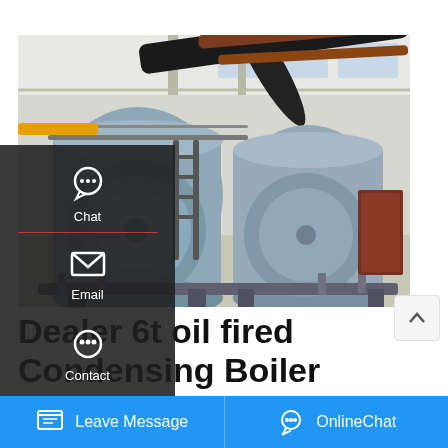[Figure (photo): Industrial boiler room with large cylindrical gas/oil-fired condensing boilers (blue/grey metal cylinders) mounted on frames inside a white industrial building, with black and brown pipes overhead]
Dealer 6t oil fired Condensing Boiler Moldavia
Industrial Dealer 8t Biomass Condensing Boiler Armenia. 8t rice Moldavia 18tons oil and gas in